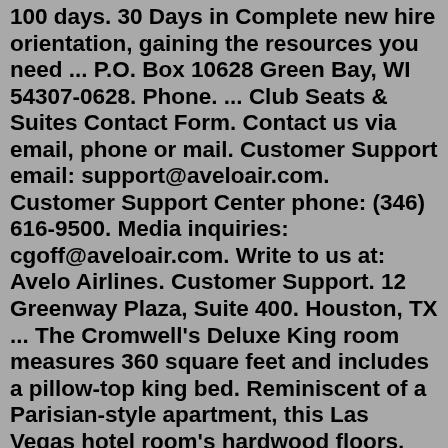100 days. 30 Days in Complete new hire orientation, gaining the resources you need ... P.O. Box 10628 Green Bay, WI 54307-0628. Phone. ... Club Seats & Suites Contact Form. Contact us via email, phone or mail. Customer Support email: support@aveloair.com. Customer Support Center phone: (346) 616-9500. Media inquiries: cgoff@aveloair.com. Write to us at: Avelo Airlines. Customer Support. 12 Greenway Plaza, Suite 400. Houston, TX ... The Cromwell's Deluxe King room measures 360 square feet and includes a pillow-top king bed. Reminiscent of a Parisian-style apartment, this Las Vegas hotel room's hardwood floors, plush seating and antique trunk-style furnishings give it both a modern and vintage flair.Aug 26, 2022 · Customer Number 800-745-3000 - by the Numbers. Phone number to dial 800-745-3000. Call-back available YES. Call picked up by a real person YES. Department you're calling Ticket Sales. Call center hours Mon-Sat 9am-6pm, Sun noon-6pm EST. Best time to dial 9:01am. Our 24 hour passport and travel